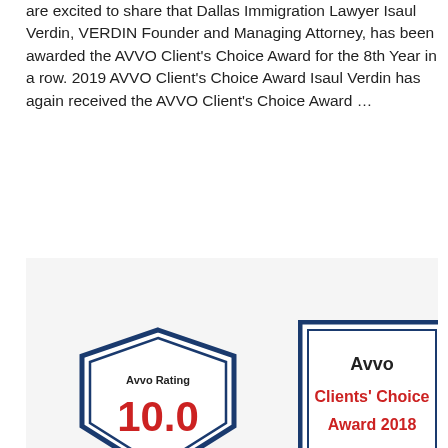are excited to share that Dallas Immigration Lawyer Isaul Verdin, VERDIN Founder and Managing Attorney, has been awarded the AVVO Client's Choice Award for the 8th Year in a row. 2019 AVVO Client's Choice Award Isaul Verdin has again received the AVVO Client's Choice Award …
Read more
[Figure (photo): Two Avvo award badges: an Avvo Rating 10.0 badge (navy shield shape) and an Avvo Clients' Choice Award 2018 badge (navy rectangle border)]